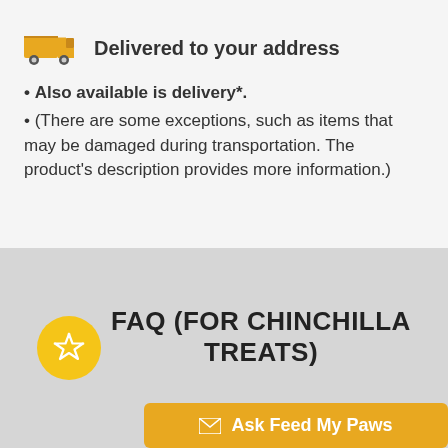Delivered to your address
Also available is delivery*.
(There are some exceptions, such as items that may be damaged during transportation. The product's description provides more information.)
FAQ (FOR CHINCHILLA TREATS)
Ask Feed My Paws